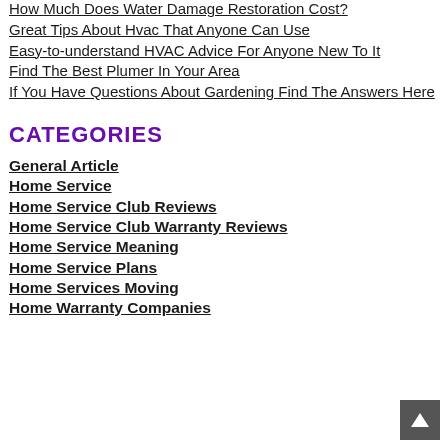How Much Does Water Damage Restoration Cost?
Great Tips About Hvac That Anyone Can Use
Easy-to-understand HVAC Advice For Anyone New To It
Find The Best Plumer In Your Area
If You Have Questions About Gardening Find The Answers Here
CATEGORIES
General Article
Home Service
Home Service Club Reviews
Home Service Club Warranty Reviews
Home Service Meaning
Home Service Plans
Home Services Moving
Home Warranty Companies